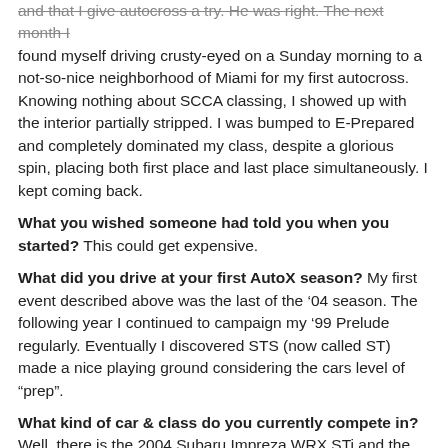and that I give autocross a try. He was right. The next month I found myself driving crusty-eyed on a Sunday morning to a not-so-nice neighborhood of Miami for my first autocross. Knowing nothing about SCCA classing, I showed up with the interior partially stripped. I was bumped to E-Prepared and completely dominated my class, despite a glorious spin, placing both first place and last place simultaneously. I kept coming back.
What you wished someone had told you when you started? This could get expensive.
What did you drive at your first AutoX season? My first event described above was the last of the '04 season. The following year I continued to campaign my '99 Prelude regularly. Eventually I discovered STS (now called ST) made a nice playing ground considering the cars level of "prep".
What kind of car & class do you currently compete in? Well, there is the 2004 Subaru Impreza WRX STi and the